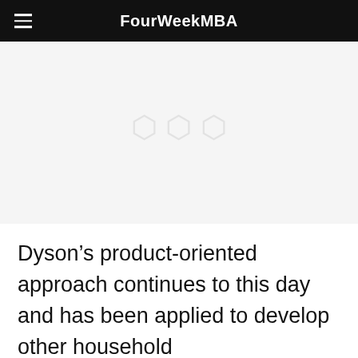FourWeekMBA
[Figure (photo): Image placeholder area with light gray background, appears to contain a faded/watermarked image in the center]
Dyson’s product-oriented approach continues to this day and has been applied to develop other household